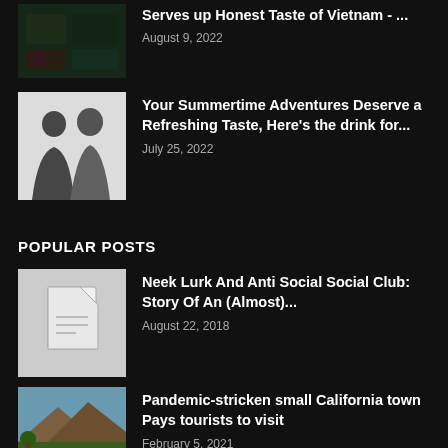[Figure (photo): Food in containers/bento boxes with blue background]
Serves up Honest Taste of Vietnam - ...
August 9, 2022
[Figure (photo): Two people - woman in black dress and man in black jacket]
Your Summertime Adventures Deserve a Refreshing Taste, Here's the drink for...
July 25, 2022
POPULAR POSTS
[Figure (photo): Placeholder document icon on light grey background]
Neek Lurk And Anti Social Social Club: Story Of An (Almost)...
August 22, 2018
[Figure (photo): Landscape with vineyards and mountains in California]
Pandemic-stricken small California town Pays tourists to visit
February 5, 2021